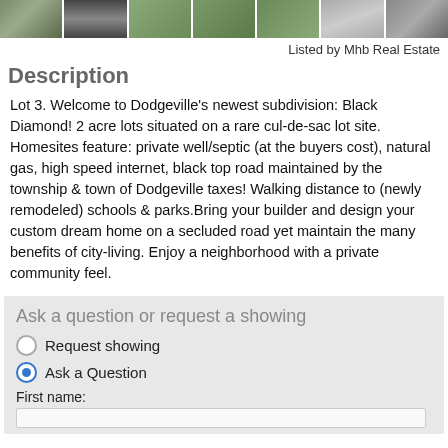[Figure (photo): Strip of 7 aerial/landscape photos of the property and subdivision]
Listed by Mhb Real Estate
Description
Lot 3. Welcome to Dodgeville's newest subdivision: Black Diamond! 2 acre lots situated on a rare cul-de-sac lot site. Homesites feature: private well/septic (at the buyers cost), natural gas, high speed internet, black top road maintained by the township & town of Dodgeville taxes! Walking distance to (newly remodeled) schools & parks.Bring your builder and design your custom dream home on a secluded road yet maintain the many benefits of city-living. Enjoy a neighborhood with a private community feel.
Ask a question or request a showing
Request showing
Ask a Question
First name: